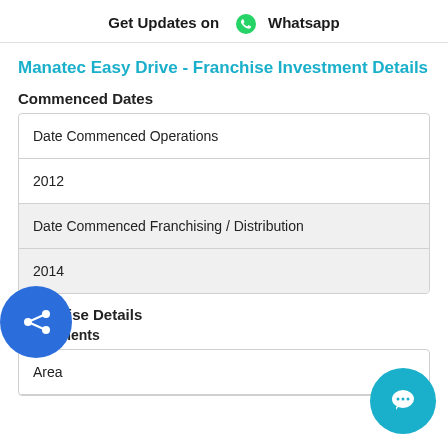Get Updates on Whatsapp
Manatec Easy Drive - Franchise Investment Details
Commenced Dates
| Date Commenced Operations |
| 2012 |
| Date Commenced Franchising / Distribution |
| 2014 |
Franchise Details
Investments
| Area |